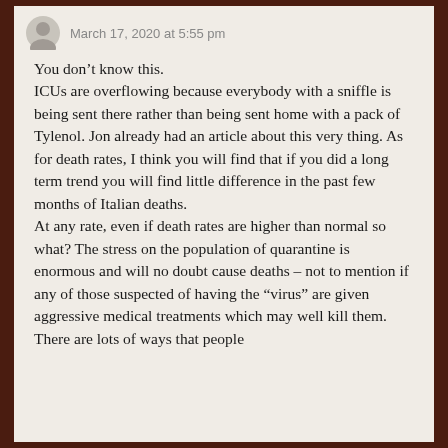March 17, 2020 at 5:55 pm
You don’t know this.
ICUs are overflowing because everybody with a sniffle is being sent there rather than being sent home with a pack of Tylenol. Jon already had an article about this very thing. As for death rates, I think you will find that if you did a long term trend you will find little difference in the past few months of Italian deaths.
At any rate, even if death rates are higher than normal so what? The stress on the population of quarantine is enormous and will no doubt cause deaths – not to mention if any of those suspected of having the “virus” are given aggressive medical treatments which may well kill them.
There are lots of ways that people